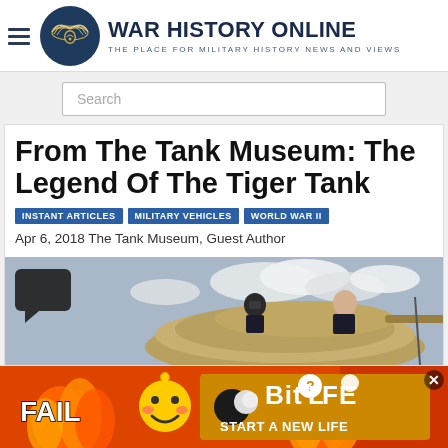WAR HISTORY ONLINE — THE PLACE FOR MILITARY HISTORY NEWS AND VIEWS
[Figure (screenshot): Search bar with placeholder text 'Search']
From The Tank Museum: The Legend Of The Tiger Tank
INSTANT ARTICLES   MILITARY VEHICLES   WORLD WAR II
Apr 6, 2018 The Tank Museum, Guest Author
[Figure (photo): Two people working on top of a Tiger Tank turret, outdoors with cloudy sky]
[Figure (other): BitLife advertisement banner — FAIL, START A NEW LIFE]